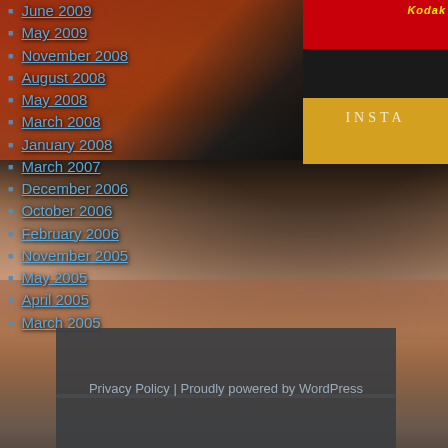[Figure (photo): Background collage: colorful candy/snack packages including Hi-Power brand on left, Kodak instant camera advertisement on upper right, woman's face (close-up of eyes) in lower portion]
June 2009
May 2009
November 2008
August 2008
May 2008
March 2008
January 2008
March 2007
December 2006
October 2006
February 2006
November 2005
May 2005
April 2005
March 2005
Privacy Policy | Proudly powered by WordPress